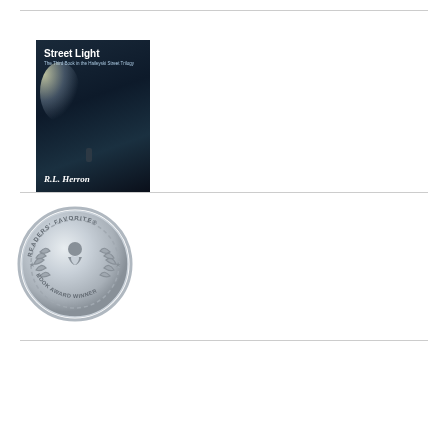[Figure (illustration): Book cover for 'Street Light' by R.L. Herron, showing a dark atmospheric street scene with a bright light and a figure, dark blue tones]
[Figure (illustration): Readers Favorite Book Award Winner silver medallion/seal]
[Figure (illustration): Book or promotional image by R.L. Herron with teal/dark tones and text about being award-winning author]